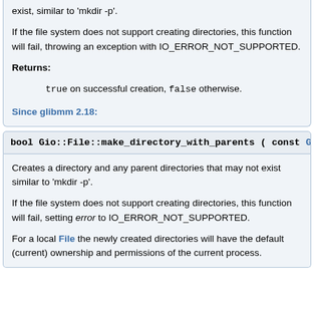exist, similar to 'mkdir -p'.

If the file system does not support creating directories, this function will fail, throwing an exception with IO_ERROR_NOT_SUPPORTED.
Returns:
    true on successful creation, false otherwise.
Since glibmm 2.18:
bool Gio::File::make_directory_with_parents ( const Glib::Ref
Creates a directory and any parent directories that may not exist similar to 'mkdir -p'.
If the file system does not support creating directories, this function will fail, setting error to IO_ERROR_NOT_SUPPORTED.
For a local File the newly created directories will have the default (current) ownership and permissions of the current process.